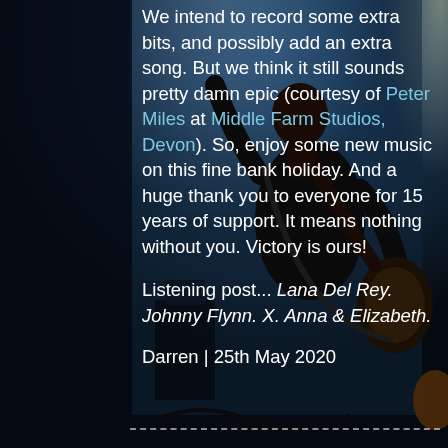[Figure (photo): A guitarist on stage performing, photographed from behind, wearing a sleeveless black shirt and holding a guitar. Stage lights in blue and white illuminate the scene. The background shows concert equipment and a blue-lit stage atmosphere.]
We intend to record some extra bits, and possibly add an extra song. But we think it still sounds pretty damn epic (courtesy of Peter Miles at Middle Farm Studios, Devon). So, enjoy some new music on this fine bank holiday. And a huge thank you to everyone for 15 years of support. It means nothing without you. Victory is ours!
Listening post... Lana Del Rey. Johnny Flynn. X. Anna & Elizabeth.
Darren | 25th May 2020